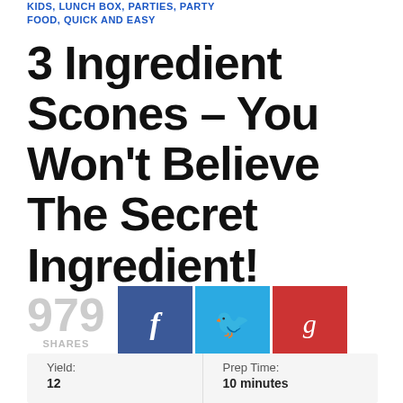KIDS, LUNCH BOX, PARTIES, PARTY FOOD, QUICK AND EASY
3 Ingredient Scones – You Won't Believe The Secret Ingredient!
979 SHARES
[Figure (infographic): Social share buttons: Facebook (blue), Twitter (light blue), Google+ (red), Pinterest (red), LinkedIn (blue). 5 buttons in a 3x2 grid with one empty slot.]
| Yield: | Prep Time: |
| --- | --- |
| 12 | 10 minutes |